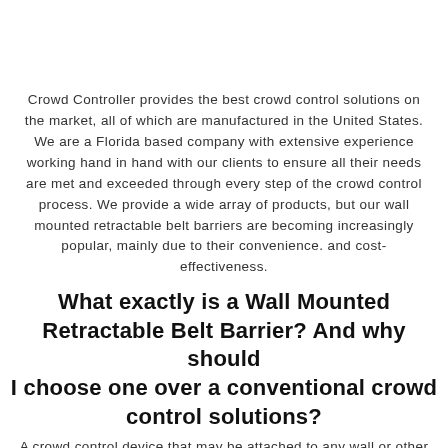Crowd Controller provides the best crowd control solutions on the market, all of which are manufactured in the United States. We are a Florida based company with extensive experience working hand in hand with our clients to ensure all their needs are met and exceeded through every step of the crowd control process. We provide a wide array of products, but our wall mounted retractable belt barriers are becoming increasingly popular, mainly due to their convenience. and cost-effectiveness.
What exactly is a Wall Mounted Retractable Belt Barrier? And why should I choose one over a conventional crowd control solutions?
A crowd control device that may be attached to any wall or other surfaces. It features a retractable belt, and multiple mounting types and cases. These belts can be utilized to indicate to employees are visitors that access. Beyond this point is not allowed. Belts come in a variety